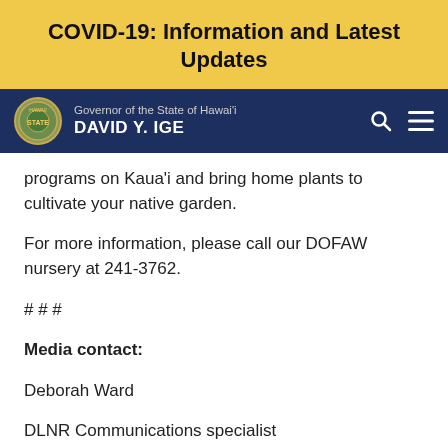COVID-19: Information and Latest Updates
Governor of the State of Hawai'i DAVID Y. IGE
programs on Kaua'i and bring home plants to cultivate your native garden.
For more information, please call our DOFAW nursery at 241-3762.
# # #
Media contact:
Deborah Ward
DLNR Communications specialist